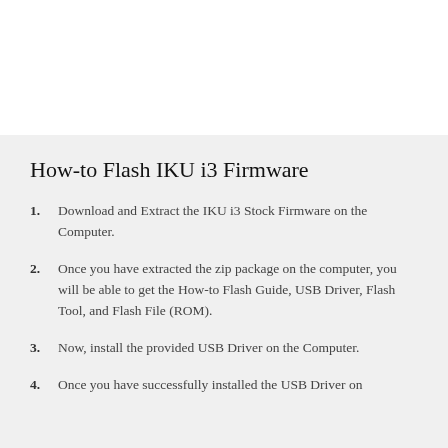How-to Flash IKU i3 Firmware
Download and Extract the IKU i3 Stock Firmware on the Computer.
Once you have extracted the zip package on the computer, you will be able to get the How-to Flash Guide, USB Driver, Flash Tool, and Flash File (ROM).
Now, install the provided USB Driver on the Computer.
Once you have successfully installed the USB Driver on